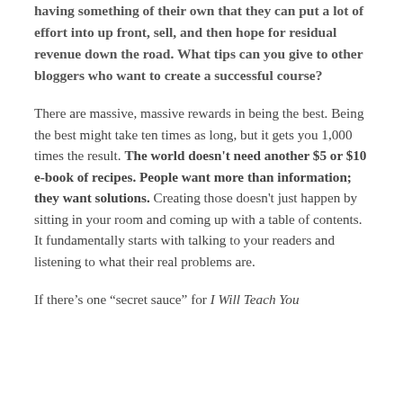having something of their own that they can put a lot of effort into up front, sell, and then hope for residual revenue down the road. What tips can you give to other bloggers who want to create a successful course?
There are massive, massive rewards in being the best. Being the best might take ten times as long, but it gets you 1,000 times the result. The world doesn't need another $5 or $10 e-book of recipes. People want more than information; they want solutions. Creating those doesn't just happen by sitting in your room and coming up with a table of contents. It fundamentally starts with talking to your readers and listening to what their real problems are.
If there's one “secret sauce” for I Will Teach You